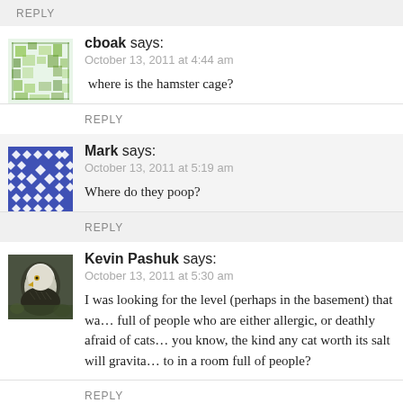REPLY
cboak says:
October 13, 2011 at 4:44 am

where is the hamster cage?
REPLY
Mark says:
October 13, 2011 at 5:19 am

Where do they poop?
REPLY
Kevin Pashuk says:
October 13, 2011 at 5:30 am

I was looking for the level (perhaps in the basement) that wa… full of people who are either allergic, or deathly afraid of cats… you know, the kind any cat worth its salt will gravita… to in a room full of people?
REPLY